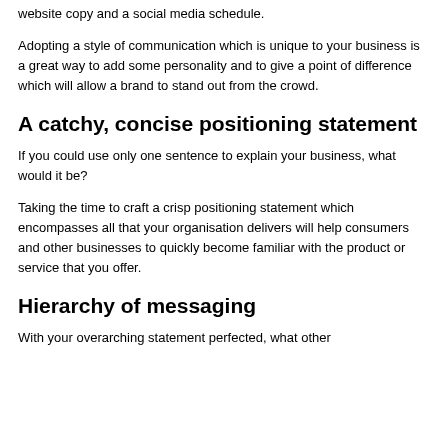website copy and a social media schedule.
Adopting a style of communication which is unique to your business is a great way to add some personality and to give a point of difference which will allow a brand to stand out from the crowd.
A catchy, concise positioning statement
If you could use only one sentence to explain your business, what would it be?
Taking the time to craft a crisp positioning statement which encompasses all that your organisation delivers will help consumers and other businesses to quickly become familiar with the product or service that you offer.
Hierarchy of messaging
With your overarching statement perfected, what other